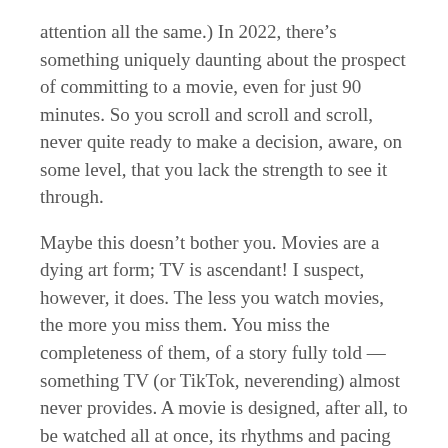attention all the same.) In 2022, there's something uniquely daunting about the prospect of committing to a movie, even for just 90 minutes. So you scroll and scroll and scroll, never quite ready to make a decision, aware, on some level, that you lack the strength to see it through.
Maybe this doesn't bother you. Movies are a dying art form; TV is ascendant! I suspect, however, it does. The less you watch movies, the more you miss them. You miss the completeness of them, of a story fully told — something TV (or TikTok, neverending) almost never provides. A movie is designed, after all, to be watched all at once, its rhythms and pacing serving the arc of a single emotional journey.